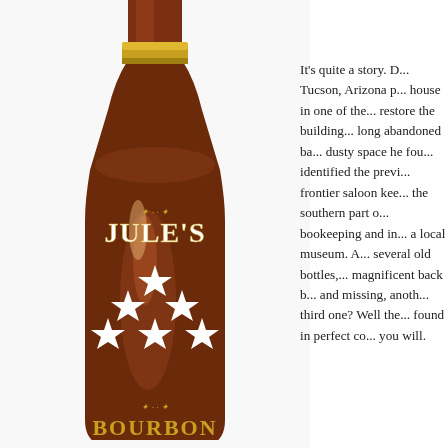[Figure (photo): A dark amber glass bottle labeled 'JULE'S' with decorative gold lettering and white five-pointed stars arranged in a triangular pattern (1 star on top, 2 in middle, 3 at bottom). Below the stars is ornate gold text beginning with 'BOURBON'. The bottle has a gold foil capsule at the neck top.]
It's quite a story. D... Tucson, Arizona p... house in one of the... restore the building... long abandoned ba... dusty space he fou... identified the previ... frontier saloon kee... the southern part o... bookeeping and in... a local museum. A... several old bottles,... magnificent back b... and missing, anoth... third one? Well the... found in perfect co... you will.